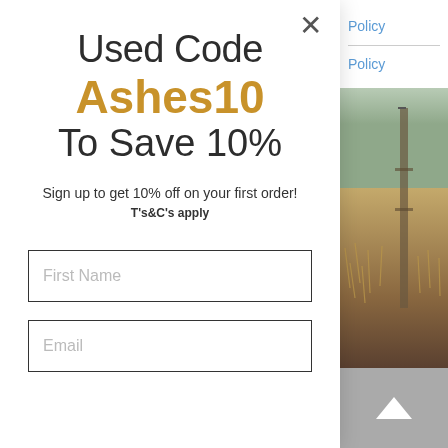Policy
Policy
Used Code Ashes10 To Save 10%
Sign up to get 10% off on your first order!
T's&C's apply
First Name
Email
[Figure (photo): Outdoor photo of dried grass and wooden fence post in muted autumn tones]